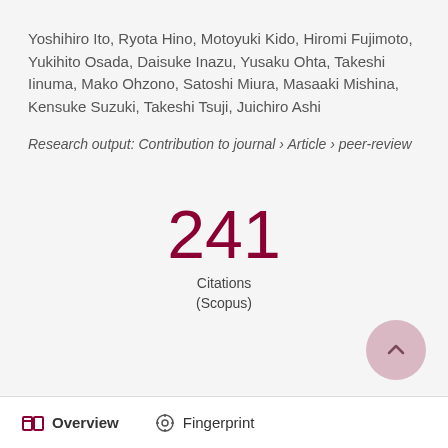Yoshihiro Ito, Ryota Hino, Motoyuki Kido, Hiromi Fujimoto, Yukihito Osada, Daisuke Inazu, Yusaku Ohta, Takeshi Iinuma, Mako Ohzono, Satoshi Miura, Masaaki Mishina, Kensuke Suzuki, Takeshi Tsuji, Juichiro Ashi
Research output: Contribution to journal › Article › peer-review
[Figure (infographic): Citation count badge showing 241 Citations (Scopus)]
Overview   Fingerprint